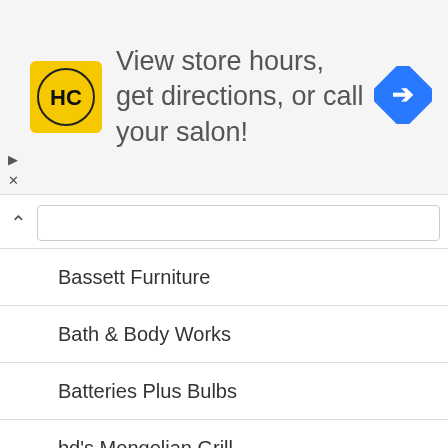[Figure (infographic): Advertisement banner for Hair Club (HC) salon finder. Shows HC logo in yellow square, text 'View store hours, get directions, or call your salon!' and a blue direction arrow icon. Includes play and close ad controls.]
Bassett Furniture
Bath & Body Works
Batteries Plus Bulbs
bd's Mongolian Grill
Bealls Florida
Becker Furniture World
Bed Bath & Beyond
Beef 'O' Brady's
Bel Air
Belfort Furniture
Belk